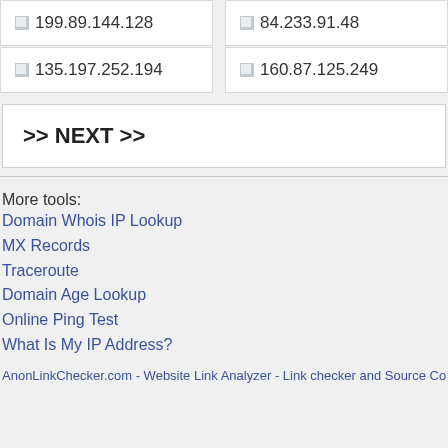199.89.144.128
84.233.91.48
135.197.252.194
160.87.125.249
>> NEXT >>
More tools:
Domain Whois IP Lookup
MX Records
Traceroute
Domain Age Lookup
Online Ping Test
What Is My IP Address?
AnonLinkChecker.com - Website Link Analyzer - Link checker and Source Co